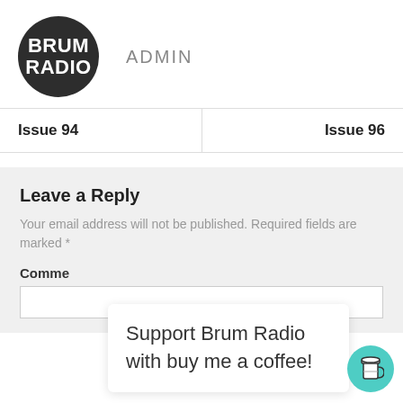[Figure (logo): Brum Radio circular logo: dark circle with BRUM RADIO text in white bold capitals]
ADMIN
Issue 94
Issue 96
Leave a Reply
Your email address will not be published. Required fields are marked *
Comme
Support Brum Radio with buy me a coffee!
[Figure (illustration): Green circular button with coffee cup icon]